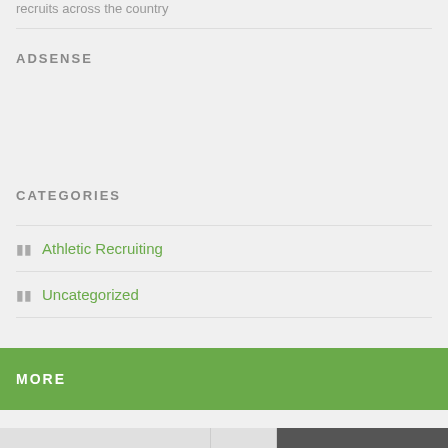recruits across the country
ADSENSE
CATEGORIES
Athletic Recruiting
Uncategorized
MORE